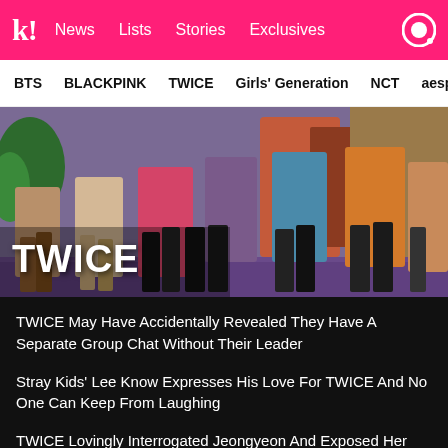k! News Lists Stories Exclusives
BTS BLACKPINK TWICE Girls' Generation NCT aespa
[Figure (photo): TWICE K-pop group photo showing members from waist down wearing colorful outfits and boots, with 'TWICE' text overlay in bottom left corner]
TWICE May Have Accidentally Revealed They Have A Separate Group Chat Without Their Leader
Stray Kids' Lee Know Expresses His Love For TWICE And No One Can Keep From Laughing
TWICE Lovingly Interrogated Jeongyeon And Exposed Her Soft Side
Somi Proves She's TWICE's Secret 10th Member In Her...